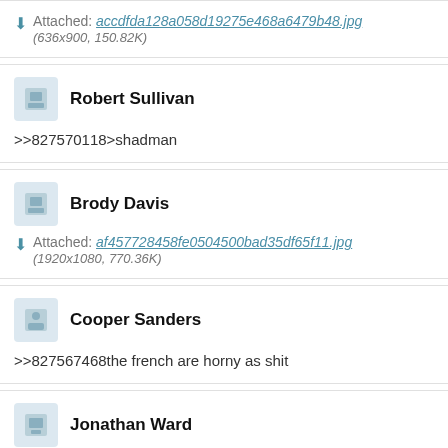Attached: accdfda128a058d19275e468a6479b48.jpg (636x900, 150.82K)
Robert Sullivan
>>827570118>shadman
Brody Davis
Attached: af457728458fe0504500bad35df65f11.jpg (1920x1080, 770.36K)
Cooper Sanders
>>827567468the french are horny as shit
Jonathan Ward